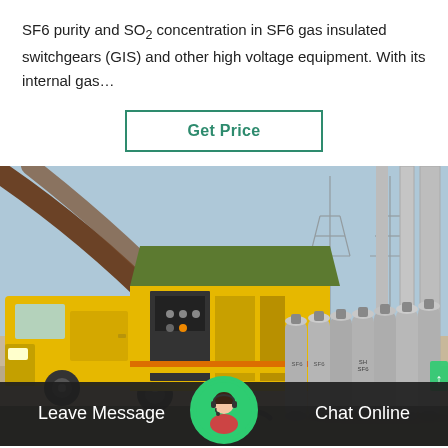SF6 purity and SO2 concentration in SF6 gas insulated switchgears (GIS) and other high voltage equipment. With its internal gas…
Get Price
[Figure (photo): Yellow utility truck with SF6 gas handling equipment and multiple gray SF6 gas cylinders at a high voltage electrical substation]
Leave Message
Chat Online